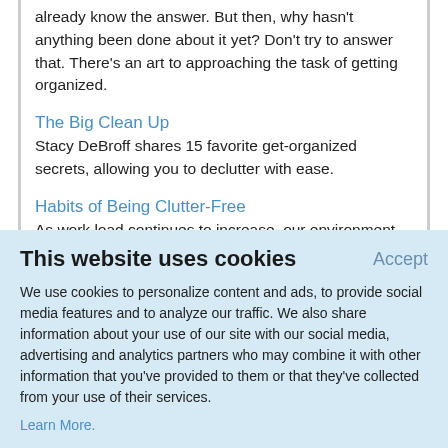already know the answer. But then, why hasn't anything been done about it yet? Don't try to answer that. There's an art to approaching the task of getting organized.
The Big Clean Up
Stacy DeBroff shares 15 favorite get-organized secrets, allowing you to declutter with ease.
Habits of Being Clutter-Free
As work load continues to increase, our environment can suffer unless we take some time to take care of
This website uses cookies
Accept
We use cookies to personalize content and ads, to provide social media features and to analyze our traffic. We also share information about your use of our site with our social media, advertising and analytics partners who may combine it with other information that you've provided to them or that they've collected from your use of their services.
Learn More.
experiments on the kitchen window. The six-foot-tall child